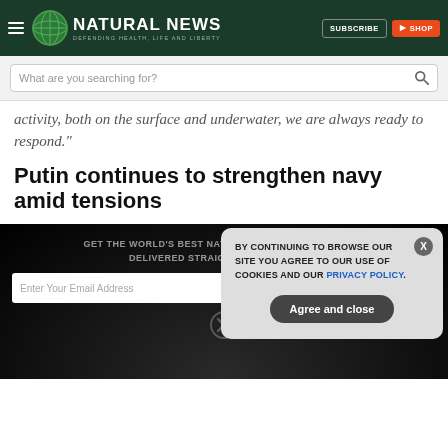NATURAL NEWS — DEFENDING HEALTH, LIFE AND LIBERTY
[Figure (screenshot): Search bar with placeholder text 'What are you searching for?']
activity, both on the surface and underwater, we are always ready to respond."
Putin continues to strengthen navy amid tensions
GET THE WORLD'S BEST NATURAL HEALTH NEWSLETTER DELIVERED STRAIGHT TO YOUR INBOX
BY CONTINUING TO BROWSE OUR SITE YOU AGREE TO OUR USE OF COOKIES AND OUR PRIVACY POLICY.
Agree and close